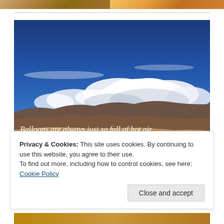[Figure (photo): Top strip showing two cropped photos side by side: left is a sandy/stone textured surface, right is a warm orange/golden toned image]
[Figure (photo): Landscape photograph of a desert scene with dramatic blue sky, white cumulus clouds, and distant mountains/dunes. White italic text overlay reads: Balloons are always just so full of hot air.]
Privacy & Cookies: This site uses cookies. By continuing to use this website, you agree to their use.
To find out more, including how to control cookies, see here: Cookie Policy
[Figure (other): Bottom golden/tan colored strip]